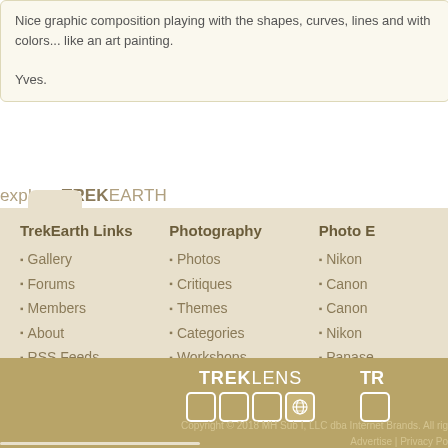Nice graphic composition playing with the shapes, curves, lines and with colors... like an art painting.

Yves.
explore TREKEARTH
TrekEarth Links
Gallery
Forums
Members
About
RSS Feeds
Photography
Photos
Critiques
Themes
Categories
Workshops
Photo E
Nikon
Canon
Canon
Nikon
Panase
[Figure (logo): TREKLENS logo with grid of boxes]
Copyright © 2018 MH Sub I, LLC dba Internet Brands. All rights reserved. Advertise | Privacy Po...